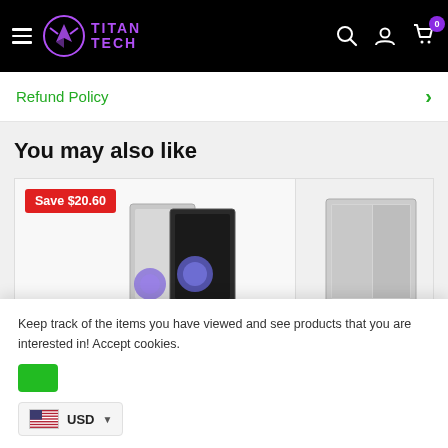[Figure (screenshot): Titan Tech e-commerce website header with black background, hamburger menu, Titan Tech purple logo, and white search/account/cart icons. Cart shows badge with 0.]
Refund Policy
You may also like
[Figure (photo): PC cases product card with Save $20.60 red badge and two dark tower PC cases displayed]
[Figure (photo): Partial view of a second PC case product card on the right side]
Keep track of the items you have viewed and see products that you are interested in! Accept cookies.
[Figure (other): US flag icon with USD currency selector dropdown]